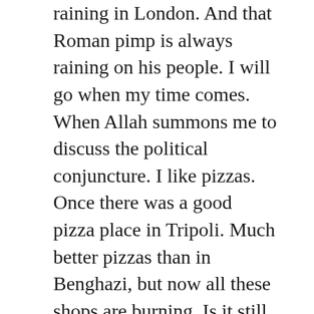raining in London. And that Roman pimp is always raining on his people. I will go when my time comes. When Allah summons me to discuss the political conjuncture. I like pizzas. Once there was a good pizza place in Tripoli. Much better pizzas than in Benghazi, but now all these shops are burning. Is it still raining? No? OK. Then I will go. Bury me in a colored shroud, not white. Bill Clinton. His penis should have been chopped off and fed to swine for letting Monica play with him when he was talking to heads of state. Men will be men, but that still upsets me. I never did that. Nor did Blair or Berlusconi.
I ruled this place for 42 years. And now it's raining. I'm sorry not to rule for 50 years. Mubarak was a stray dog, Ben Ali a pimp. Why they compare those rascals to me. I struggled against my own military dictatorship. I am